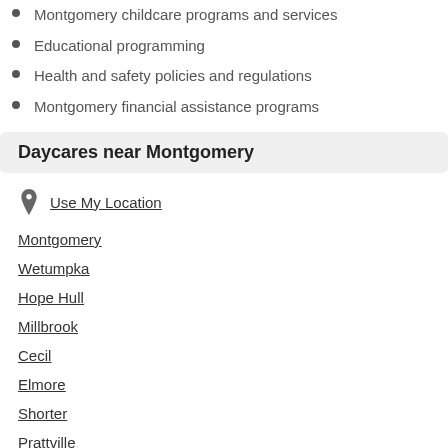Montgomery childcare programs and services
Educational programming
Health and safety policies and regulations
Montgomery financial assistance programs
Daycares near Montgomery
Use My Location
Montgomery
Wetumpka
Hope Hull
Millbrook
Cecil
Elmore
Shorter
Prattville